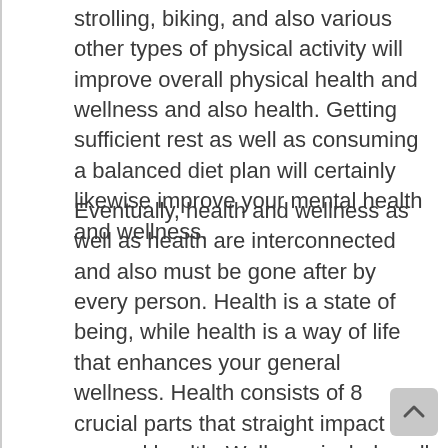strolling, biking, and also various other types of physical activity will improve overall physical health and wellness and also health. Getting sufficient rest as well as consuming a balanced diet plan will certainly likewise improve your mental health and wellness.
Eventually, health and wellness as well as health are interconnected and also must be gone after by every person. Health is a state of being, while health is a way of life that enhances your general wellness. Health consists of 8 crucial parts that straight impact general health. Wellness includes all of these aspects, but they can be challenging to specify as well as improve on their very own. Healthy relationships as well as physical activity are crucial to maintaining health and also health and wellness. You may wish to speak with a health care carrier to learn more about the parts of health.